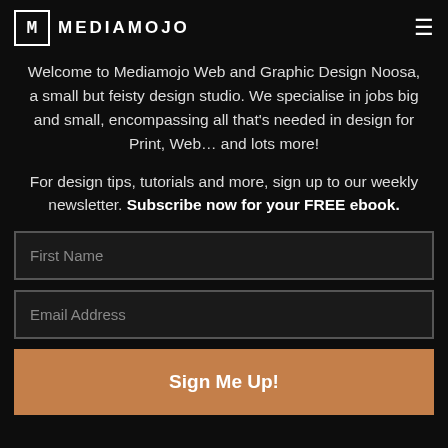MEDIAMOJO
Welcome to Mediamojo Web and Graphic Design Noosa, a small but feisty design studio. We specialise in jobs big and small, encompassing all that's needed in design for Print, Web... and lots more!
For design tips, tutorials and more, sign up to our weekly newsletter. Subscribe now for your FREE ebook.
First Name
Email Address
Sign Me Up!